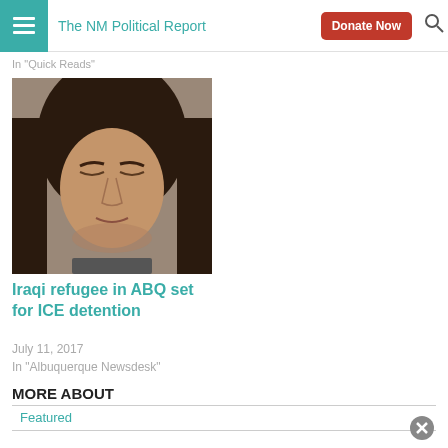The NM Political Report
In "Quick Reads"
[Figure (photo): A woman with closed eyes, appearing distressed, with long dark hair]
Iraqi refugee in ABQ set for ICE detention
July 11, 2017
In "Albuquerque Newsdesk"
MORE ABOUT
Featured